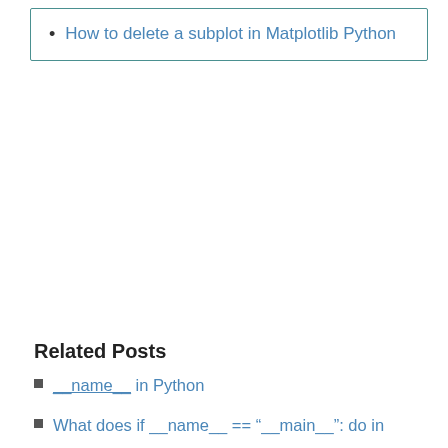How to delete a subplot in Matplotlib Python
Related Posts
__name__ in Python
What does if __name__ == "__main__": do in